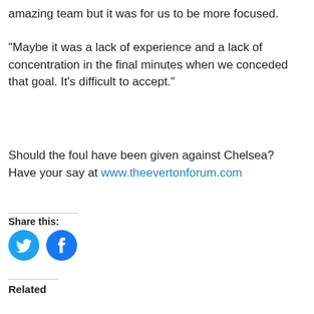amazing team but it was for us to be more focused.
“Maybe it was a lack of experience and a lack of concentration in the final minutes when we conceded that goal. It’s difficult to accept.”
Should the foul have been given against Chelsea?  Have your say at www.theevertonforum.com
Share this:
[Figure (illustration): Twitter and Facebook circular social share icons in blue]
Related